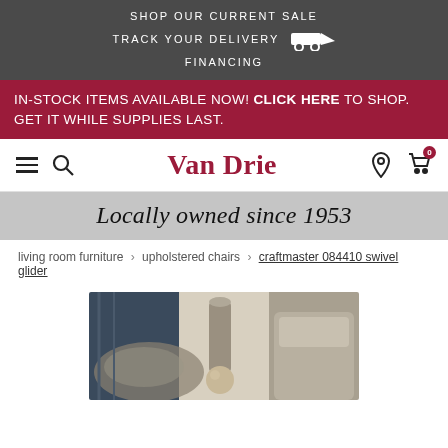SHOP OUR CURRENT SALE
TRACK YOUR DELIVERY
FINANCING
IN-STOCK ITEMS AVAILABLE NOW! CLICK HERE TO SHOP. GET IT WHILE SUPPLIES LAST.
Van Drie
Locally owned since 1953
living room furniture > upholstered chairs > craftmaster 084410 swivel glider
[Figure (photo): Partial view of an upholstered swivel glider chair with fabric visible, in a living room setting.]